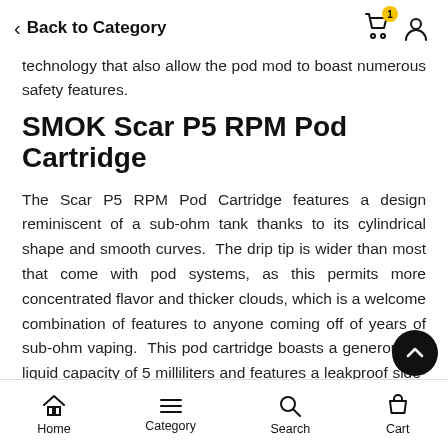Back to Category
technology that also allow the pod mod to boast numerous safety features.
SMOK Scar P5 RPM Pod Cartridge
The Scar P5 RPM Pod Cartridge features a design reminiscent of a sub-ohm tank thanks to its cylindrical shape and smooth curves.  The drip tip is wider than most that come with pod systems, as this permits more concentrated flavor and thicker clouds, which is a welcome combination of features to anyone coming off of years of sub-ohm vaping.  This pod cartridge boasts a generous e-liquid capacity of 5 milliliters and features a leakproof side-filling system that's easy to work with.
Home  Category  Search  Cart